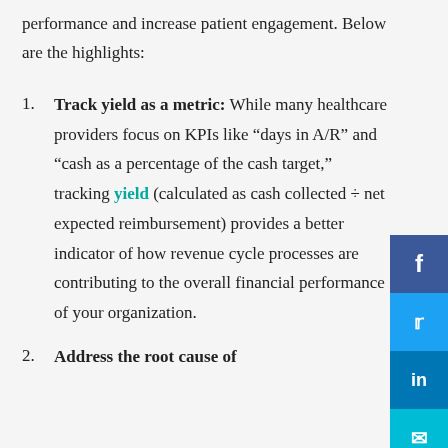performance and increase patient engagement. Below are the highlights:
Track yield as a metric: While many healthcare providers focus on KPIs like “days in A/R” and “cash as a percentage of the cash target,” tracking yield (calculated as cash collected ÷ net expected reimbursement) provides a better indicator of how revenue cycle processes are contributing to the overall financial performance of your organization.
Address the root cause of